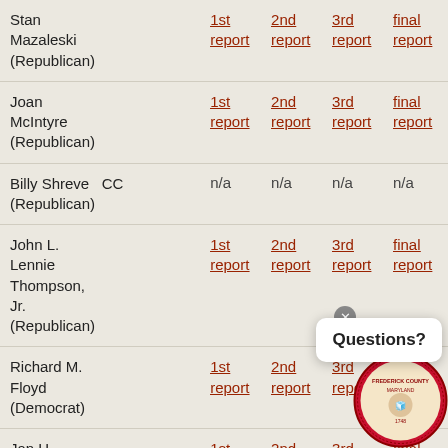| Name | 1st report | 2nd report | 3rd report | final report |
| --- | --- | --- | --- | --- |
| Stan Mazaleski (Republican) | 1st report | 2nd report | 3rd report | final report |
| Joan McIntyre (Republican) | 1st report | 2nd report | 3rd report | final report |
| Billy Shreve CC (Republican) | n/a | n/a | n/a | n/a |
| John L. Lennie Thompson, Jr. (Republican) | 1st report | 2nd report | 3rd report | final report |
| Richard M. Floyd (Democrat) | 1st report | 2nd report | 3rd report | final report |
| Jan H. Gardner | 1st report | 2nd report | 3rd report | final report |